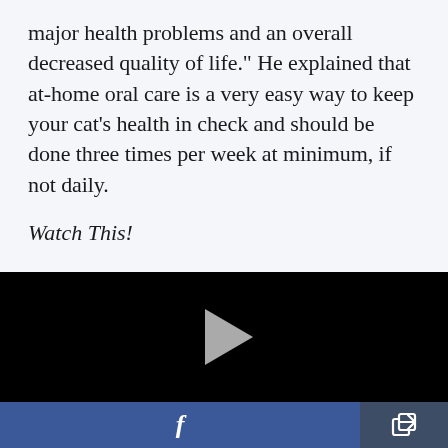major health problems and an overall decreased quality of life." He explained that at-home oral care is a very easy way to keep your cat's health in check and should be done three times per week at minimum, if not daily.
Watch This!
[Figure (screenshot): Black video player area with a white/grey play button triangle in the center]